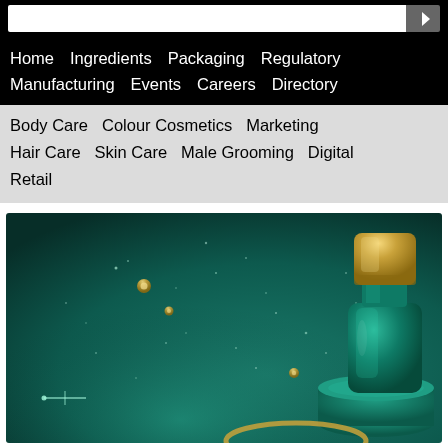Home  Ingredients  Packaging  Regulatory  Manufacturing  Events  Careers  Directory
Body Care  Colour Cosmetics  Marketing  Hair Care  Skin Care  Male Grooming  Digital  Retail
[Figure (photo): A green cosmetic perfume bottle with a gold cap displayed on a green pedestal, with golden droplets and sparkling light effects on a dark teal background.]